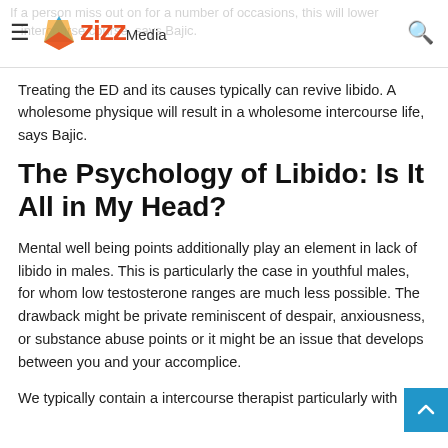zizz Media
Treating the ED and its causes typically can revive libido. A wholesome physique will result in a wholesome intercourse life, says Bajic.
The Psychology of Libido: Is It All in My Head?
Mental well being points additionally play an element in lack of libido in males. This is particularly the case in youthful males, for whom low testosterone ranges are much less possible. The drawback might be private reminiscent of despair, anxiousness, or substance abuse points or it might be an issue that develops between you and your accomplice.
We typically contain a intercourse therapist particularly with